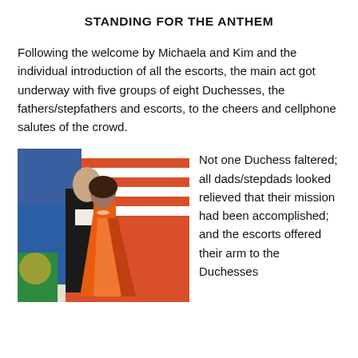STANDING FOR THE ANTHEM
Following the welcome by Michaela and Kim and the individual introduction of all the escorts, the main act got underway with five groups of eight Duchesses, the fathers/stepfathers and escorts, to the cheers and cellphone salutes of the crowd.
[Figure (photo): A man in a black tuxedo with white gloves escorts a young woman in a bright orange ball gown on a stage with colorful flags in the background.]
Not one Duchess faltered; all dads/stepdads looked relieved that their mission had been accomplished; and the escorts offered their arm to the Duchesses